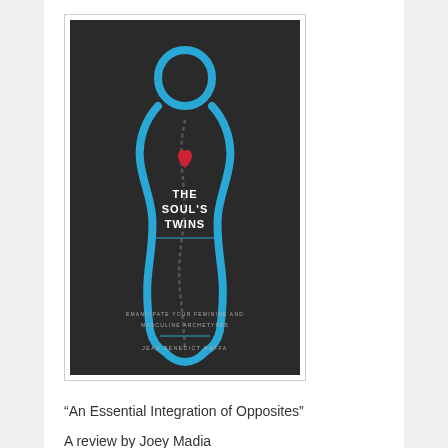[Figure (photo): Book cover of 'The Soul's Twins: Emancipate Your Feminine and Masculine Archetypes' by Jean Benedict Raffa. Dark background with a cyan/turquoise outline of a human figure and a small red heart shape at the chest area.]
“An Essential Integration of Opposites”
A review by Joey Madia
Eight years ago, in 2012 (a year that the Mayan calendar made many of us pay close attention to, as we did again with 2020), I read a book that I predicted would become a treasured friend that I would return to time and time again.